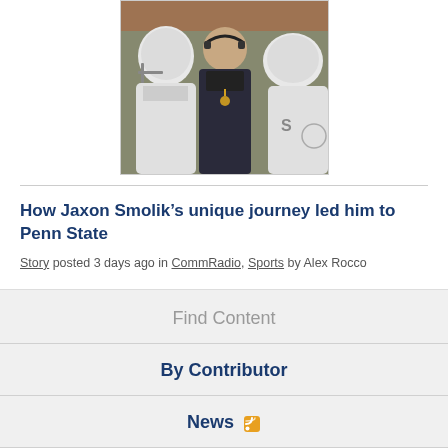[Figure (photo): Football coach wearing headset with players in white helmets and jerseys, standing on sideline]
How Jaxon Smolik’s unique journey led him to Penn State
Story posted 3 days ago in CommRadio, Sports by Alex Rocco
Find Content
By Contributor
News